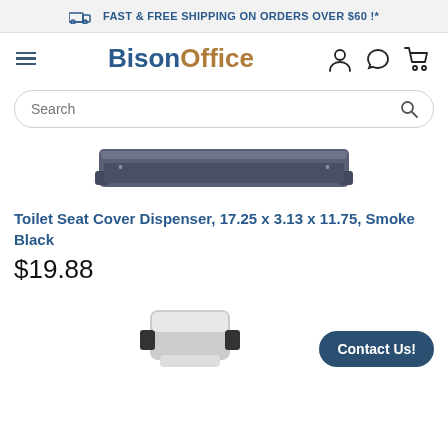FAST & FREE SHIPPING ON ORDERS OVER $60 !*
[Figure (logo): BisonOffice logo with hamburger menu and icons for user, chat, and cart]
[Figure (other): Search bar with rounded border and search icon]
[Figure (photo): Toilet Seat Cover Dispenser product image, smoke black color, elongated rectangular shape]
Toilet Seat Cover Dispenser, 17.25 x 3.13 x 11.75, Smoke Black
$19.88
[Figure (photo): Second product image partially visible at bottom, appears to be a different product]
Contact Us!